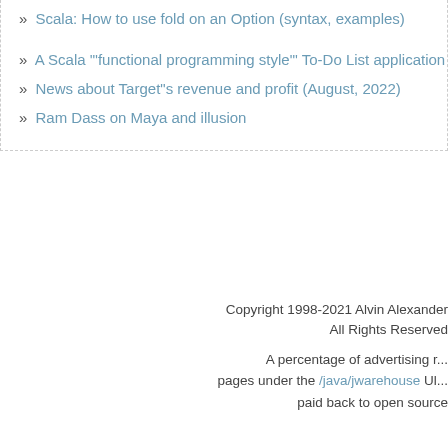» Scala: How to use fold on an Option (syntax, examples)
» A Scala ""functional programming style"" To-Do List application
» News about Target"s revenue and profit (August, 2022)
» Ram Dass on Maya and illusion
Copyright 1998-2021 Alvin Alexander. All Rights Reserved. A percentage of advertising revenue from pages under the /java/jwarehouse URL paid back to open source
/java/jwarehouse